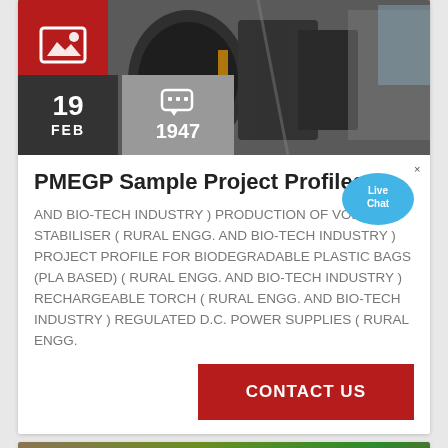[Figure (photo): Industrial machinery (crusher/mill equipment) photo with red icon box overlay, date box showing 19 FEB, comment count box showing 1947]
PMEGP Sample Project Profiles
[Figure (illustration): Live Chat speech bubble graphic in blue]
AND BIO-TECH INDUSTRY ) PRODUCTION OF VOLTAGE STABILISER ( RURAL ENGG. AND BIO-TECH INDUSTRY ) PROJECT PROFILE FOR BIODEGRADABLE PLASTIC BAGS (PLA BASED) ( RURAL ENGG. AND BIO-TECH INDUSTRY ) RECHARGEABLE TORCH ( RURAL ENGG. AND BIO-TECH INDUSTRY ) REGULATED D.C. POWER SUPPLIES ( RURAL ENGG.
CONTACT US
[Figure (photo): Partial bottom strip showing trees/outdoor scene]